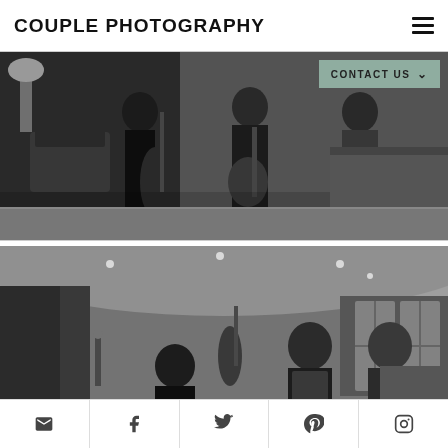COUPLE PHOTOGRAPHY
[Figure (photo): Black and white photo of musicians playing instruments including an upright bass and guitar in an interior setting]
[Figure (photo): Black and white photo of three musicians performing in an elegant interior room with large windows and curtains]
Social media icons: email, facebook, twitter, pinterest, instagram